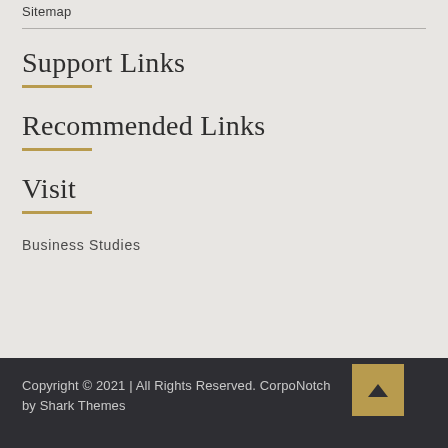Sitemap
Support Links
Recommended Links
Visit
Business Studies
Copyright © 2021 | All Rights Reserved. CorpoNotch by Shark Themes